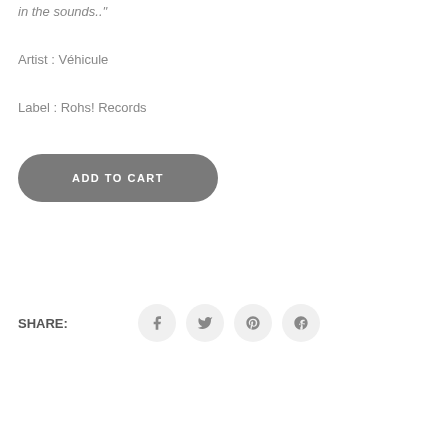in the sounds.."
Artist : Véhicule
Label : Rohs! Records
ADD TO CART
SHARE: